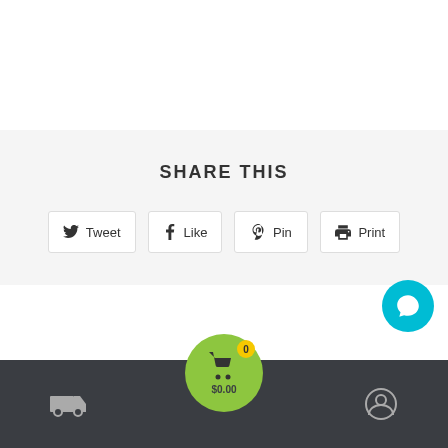SHARE THIS
[Figure (screenshot): Social share buttons: Tweet, Like, Pin, Print]
[Figure (screenshot): Bottom navigation bar with truck/delivery icon, green cart button showing $0.00 with 0 items, and user/account icon. Cyan chat bubble in bottom-right.]